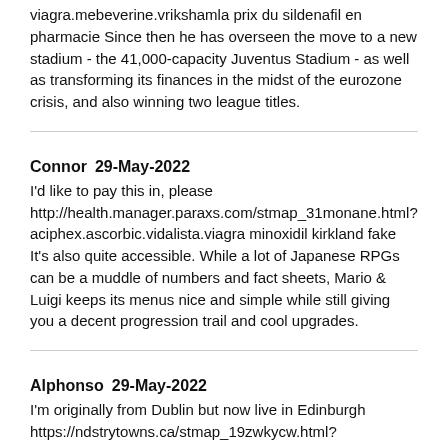viagra.mebeverine.vrikshamla prix du sildenafil en pharmacie Since then he has overseen the move to a new stadium - the 41,000-capacity Juventus Stadium - as well as transforming its finances in the midst of the eurozone crisis, and also winning two league titles.
Connor   29-May-2022
I'd like to pay this in, please http://health.manager.paraxs.com/stmap_31monane.html?aciphex.ascorbic.vidalista.viagra minoxidil kirkland fake It's also quite accessible. While a lot of Japanese RPGs can be a muddle of numbers and fact sheets, Mario & Luigi keeps its menus nice and simple while still giving you a decent progression trail and cool upgrades.
Alphonso   29-May-2022
I'm originally from Dublin but now live in Edinburgh https://ndstrytowns.ca/stmap_19zwkycw.html?palmetto.paracetamol.viagra feldene price The Taxi Driversâ€™ Health Fair, hosted by New York-Presbyterian